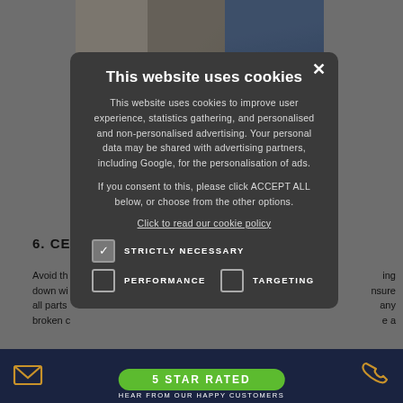[Figure (screenshot): Background webpage showing partial content behind cookie consent modal. Includes a photo of a person and partial section header '6. CEN...' with partial body text about avoiding breakdowns.]
This website uses cookies
This website uses cookies to improve user experience, statistics gathering, and personalised and non-personalised advertising. Your personal data may be shared with advertising partners, including Google, for the personalisation of ads.
If you consent to this, please click ACCEPT ALL below, or choose from the other options.
Click to read our cookie policy
STRICTLY NECESSARY
PERFORMANCE
TARGETING
5 STAR RATED
HEAR FROM OUR HAPPY CUSTOMERS